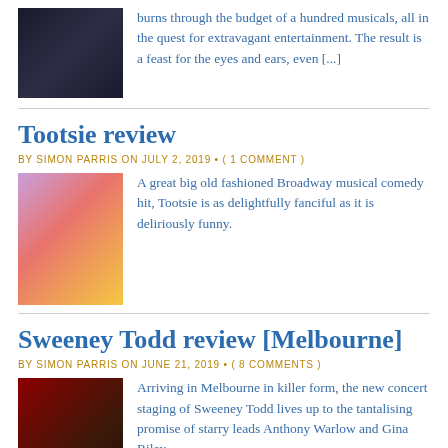[Figure (photo): Theatre production photo, dark tones]
burns through the budget of a hundred musicals, all in the quest for extravagant entertainment. The result is a feast for the eyes and ears, even [...]
Tootsie review
BY SIMON PARRIS ON JULY 2, 2019 • ( 1 COMMENT )
[Figure (photo): Tootsie Broadway musical production photo with colorful costumes]
A great big old fashioned Broadway musical comedy hit, Tootsie is as delightfully fanciful as it is deliriously funny.
Sweeney Todd review [Melbourne]
BY SIMON PARRIS ON JUNE 21, 2019 • ( 8 COMMENTS )
[Figure (photo): Sweeney Todd Melbourne concert staging photo, dark dramatic lighting]
Arriving in Melbourne in killer form, the new concert staging of Sweeney Todd lives up to the tantalising promise of starry leads Anthony Warlow and Gina Riley.